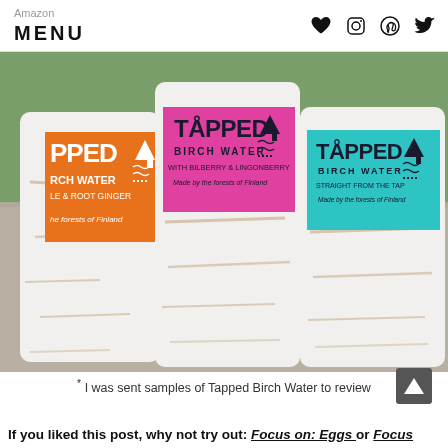Amazon  MENU
[Figure (photo): Three cylindrical Tapped Birch Water cans sitting on a stone surface outdoors. Left can has orange label, middle can has pink/magenta label reading 'TAPPED BIRCH WATER with Bilberry & Lingonberry, Made by the forests of Finland', right can has teal/turquoise label. All cans have white bark-like texture.]
* I was sent samples of Tapped Birch Water to review
If you liked this post, why not try out: Focus on: Eggs or Focus